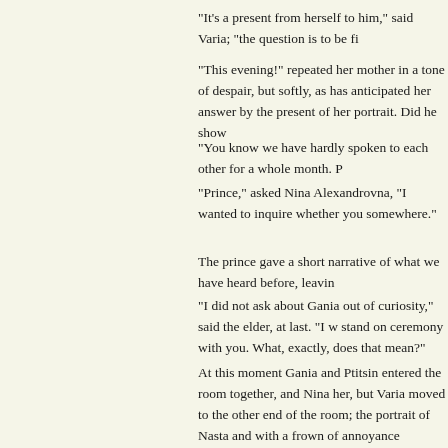"It's a present from herself to him," said Varia; "the question is to be fi
"This evening!" repeated her mother in a tone of despair, but softly, as has anticipated her answer by the present of her portrait. Did he show
"You know we have hardly spoken to each other for a whole month. P
"Prince," asked Nina Alexandrovna, "I wanted to inquire whether you somewhere."
The prince gave a short narrative of what we have heard before, leavin
"I did not ask about Gania out of curiosity," said the elder, at last. "I w stand on ceremony with you. What, exactly, does that mean?"
At this moment Gania and Ptitsin entered the room together, and Nina her, but Varia moved to the other end of the room; the portrait of Nasta and with a frown of annoyance snatched it up and threw it across to his
"Is it today, Gania?" asked Nina Alexandrovna, at last.
"Is what today?" cried the former. Then suddenly recollecting himself, it! Is it a disease, or what, that you can't hold your tongue? Look here,
"I am to blame in this, Gania—no one else," said Ptitsin.
Gania glanced inquiringly at the speaker.